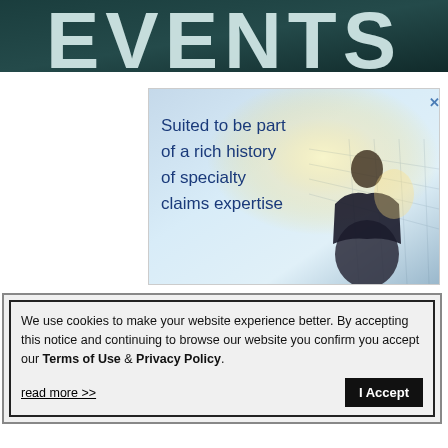[Figure (illustration): Partial banner image showing large white bold text 'EVENTS' on a dark teal/blue background, cropped at top]
[Figure (infographic): Advertisement banner: text 'Suited to be part of a rich history of specialty claims expertise' in blue on the left, silhouette of businessman in suit on the right against a glowing city background]
We use cookies to make your website experience better. By accepting this notice and continuing to browse our website you confirm you accept our Terms of Use & Privacy Policy.
read more >>
I Accept